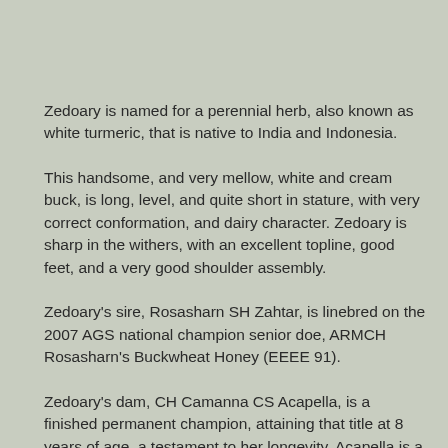Zedoary is named for a perennial herb, also known as white turmeric, that is native to India and Indonesia.
This handsome, and very mellow, white and cream buck, is long, level, and quite short in stature, with very correct conformation, and dairy character. Zedoary is sharp in the withers, with an excellent topline, good feet, and a very good shoulder assembly.
Zedoary's sire, Rosasharn SH Zahtar, is linebred on the 2007 AGS national champion senior doe, ARMCH Rosasharn's Buckwheat Honey (EEEE 91).
Zedoary's dam, CH Camanna CS Acapella, is a finished permanent champion, attaining that title at 8 years of age, a testament to her longevity. Acapella is a lovely high producing doe, with a capacious udder, nice all around attachments, and excellent udder texture.